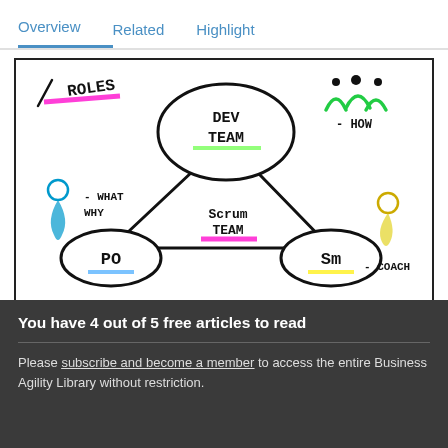Overview   Related   Highlight
[Figure (illustration): Hand-drawn whiteboard sketch of Scrum team roles. Shows a triangle connecting three ovals labeled 'DEV TEAM' (top), 'PO' (bottom-left), and 'SM' (bottom-right). Center of triangle says 'SCRUM TEAM' highlighted in magenta. 'ROLES' is written in top-left highlighted in magenta. Left side shows a person icon with '- WHAT WHY'. Top-right shows people icons with '- HOW'. Bottom-right shows a person icon with '- COACH'.]
You have 4 out of 5 free articles to read
Please subscribe and become a member to access the entire Business Agility Library without restriction.